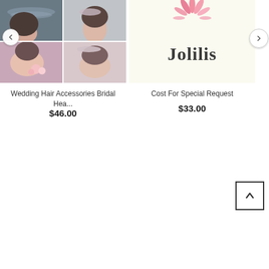[Figure (photo): Collage of four images showing women with wedding hair accessories and bridal headpieces]
Wedding Hair Accessories Bridal Hea...
$46.00
[Figure (logo): Jolilis brand logo with pink flower/agave graphic above the brand name in bold serif font on cream background]
Cost For Special Request
$33.00